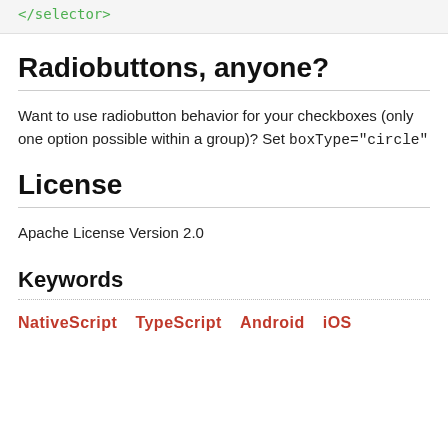</selector>
Radiobuttons, anyone?
Want to use radiobutton behavior for your checkboxes (only one option possible within a group)? Set boxType="circle"
License
Apache License Version 2.0
Keywords
NativeScript  TypeScript  Android  iOS